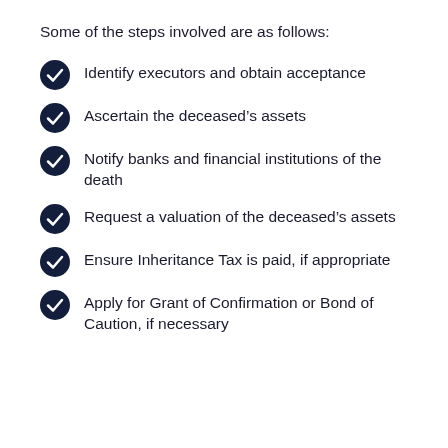Some of the steps involved are as follows:
Identify executors and obtain acceptance
Ascertain the deceased’s assets
Notify banks and financial institutions of the death
Request a valuation of the deceased’s assets
Ensure Inheritance Tax is paid, if appropriate
Apply for Grant of Confirmation or Bond of Caution, if necessary